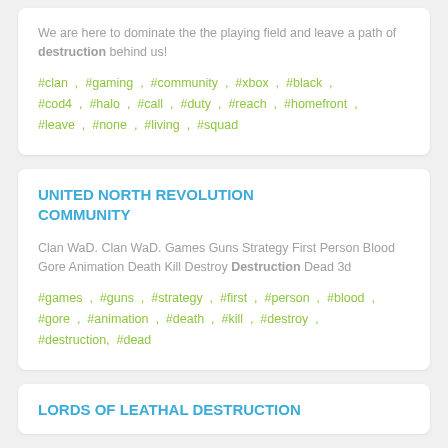We are here to dominate the the playing field and leave a path of destruction behind us!
#clan , #gaming , #community , #xbox , #black , #cod4 , #halo , #call , #duty , #reach , #homefront , #leave , #none , #living , #squad
UNITED NORTH REVOLUTION COMMUNITY
Clan WaD. Clan WaD. Games Guns Strategy First Person Blood Gore Animation Death Kill Destroy Destruction Dead 3d
#games , #guns , #strategy , #first , #person , #blood , #gore , #animation , #death , #kill , #destroy , #destruction, #dead
LORDS OF LEATHAL DESTRUCTION